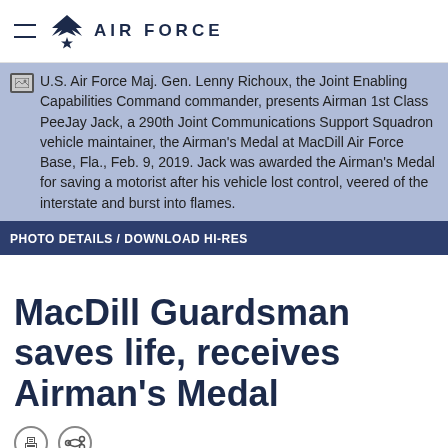AIR FORCE
[Figure (photo): U.S. Air Force photo placeholder with caption overlay showing Maj. Gen. Lenny Richoux presenting Airman's Medal to A1C PeeJay Jack]
U.S. Air Force Maj. Gen. Lenny Richoux, the Joint Enabling Capabilities Command commander, presents Airman 1st Class PeeJay Jack, a 290th Joint Communications Support Squadron vehicle maintainer, the Airman's Medal at MacDill Air Force Base, Fla., Feb. 9, 2019. Jack was awarded the Airman's Medal for saving a motorist after his vehicle lost control, veered of the interstate and burst into flames.
PHOTO DETAILS / DOWNLOAD HI-RES
MacDill Guardsman saves life, receives Airman's Medal